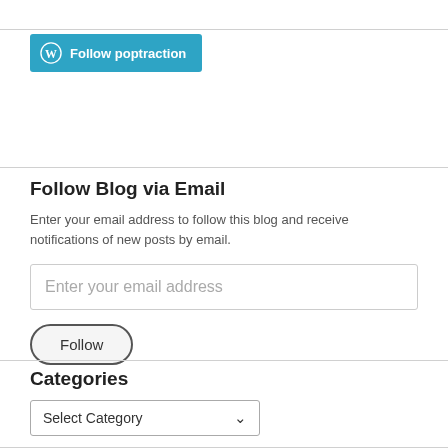[Figure (other): WordPress Follow button — teal/cyan rounded rectangle with WordPress logo (W in circle) and text 'Follow poptraction' in white on cyan background]
Follow Blog via Email
Enter your email address to follow this blog and receive notifications of new posts by email.
[Figure (other): Email address input field with placeholder text 'Enter your email address']
[Figure (other): Follow button — rounded pill-shaped button with border and label 'Follow']
Categories
[Figure (other): Dropdown select box showing 'Select Category' with a down chevron arrow]